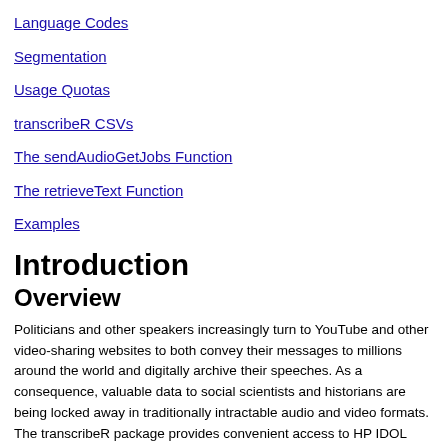Language Codes
Segmentation
Usage Quotas
transcribeR CSVs
The sendAudioGetJobs Function
The retrieveText Function
Examples
Introduction
Overview
Politicians and other speakers increasingly turn to YouTube and other video-sharing websites to both convey their messages to millions around the world and digitally archive their speeches. As a consequence, valuable data to social scientists and historians are being locked away in traditionally intractable audio and video formats. The transcribeR package provides convenient access to HP IDOL OnDemand's Speech